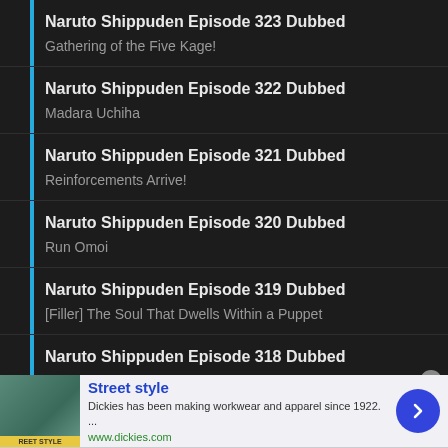Naruto Shippuden Episode 323 Dubbed
Gathering of the Five Kage!
Naruto Shippuden Episode 322 Dubbed
Madara Uchiha
Naruto Shippuden Episode 321 Dubbed
Reinforcements Arrive!
Naruto Shippuden Episode 320 Dubbed
Run Omoi
Naruto Shippuden Episode 319 Dubbed
[Filler] The Soul That Dwells Within a Puppet
Naruto Shippuden Episode 318 Dubbed
[Figure (infographic): Advertisement banner for Dickies Street Style. Shows a woman in street style clothing, with text: Street style, Dickies has been making workwear and apparel since 1922... , www.dickies.com. Has a blue circular arrow button and a close X button.]